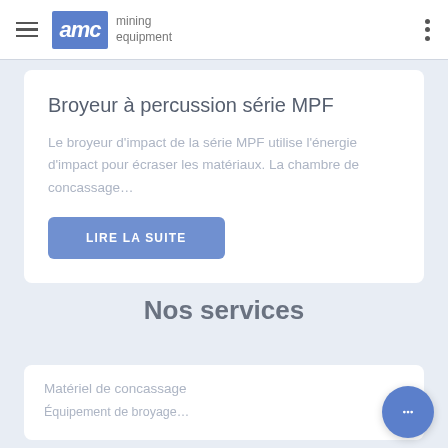AMC mining equipment
Broyeur à percussion série MPF
Le broyeur d'impact de la série MPF utilise l'énergie d'impact pour écraser les matériaux. La chambre de concassage...
LIRE LA SUITE
Nos services
Matériel de concassage